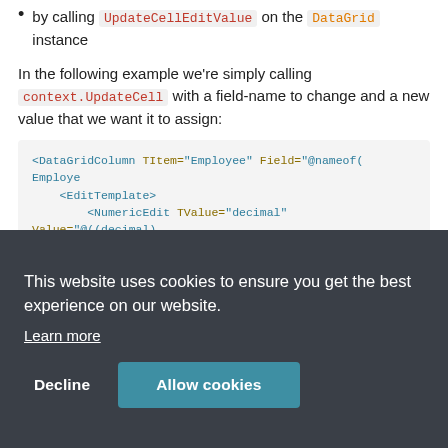by calling UpdateCellEditValue on the DataGrid instance
In the following example we're simply calling context.UpdateCell with a field-name to change and a new value that we want it to assign:
[Figure (screenshot): Code block showing XML/Blazor markup with DataGridColumn, EditTemplate, NumericEdit elements. Text is partially obscured by cookie consent overlay.]
This website uses cookies to ensure you get the best experience on our website.
Learn more
Decline
Allow cookies
Sele
If you need to control how and when the grid row will be